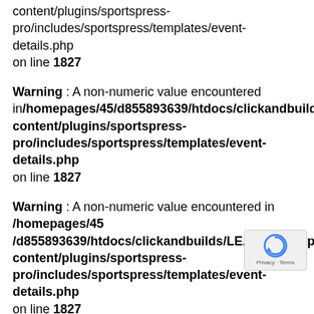content/plugins/sportspress-pro/includes/sportspress/templates/event-details.php on line 1827
Warning : A non-numeric value encountered in/homepages/45/d855893639/htdocs/clickandbuilds/l content/plugins/sportspress-pro/includes/sportspress/templates/event-details.php on line 1827
Warning : A non-numeric value encountered in /homepages/45 /d855893639/htdocs/clickandbuilds/LEA499698/wp-content/plugins/sportspress-pro/includes/sportspress/templates/event-details.php on line 1827
Warning : A non-numeric value encountered in /homepages/45/d855893639/htdocs